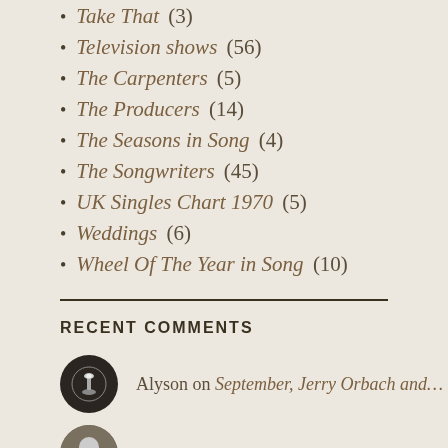Take That (3)
Television shows (56)
The Carpenters (5)
The Producers (14)
The Seasons in Song (4)
The Songwriters (45)
UK Singles Chart 1970 (5)
Weddings (6)
Wheel Of The Year in Song (10)
RECENT COMMENTS
Alyson on September, Jerry Orbach and…